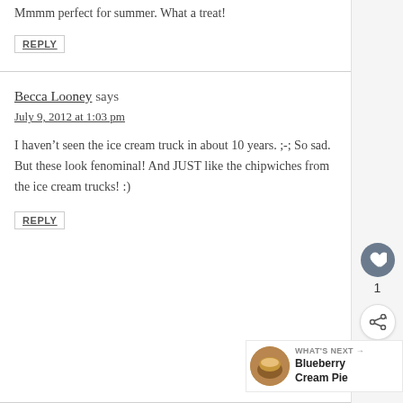Mmmm perfect for summer. What a treat!
REPLY
Becca Looney says
July 9, 2012 at 1:03 pm
I haven't seen the ice cream truck in about 10 years. ;-; So sad. But these look fenominal! And JUST like the chipwiches from the ice cream trucks! :)
REPLY
WHAT'S NEXT → Blueberry Cream Pie